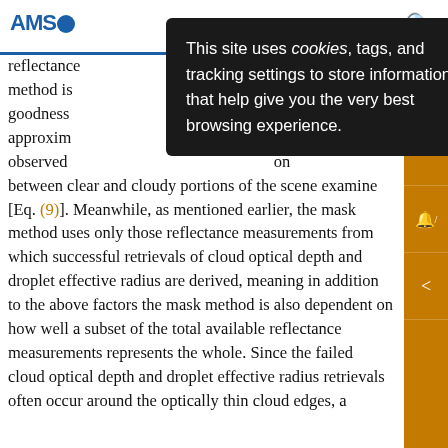AMS [logo]
[Figure (screenshot): Cookie consent popup overlay with dark background reading: 'This site uses cookies, tags, and tracking settings to store information that help give you the very best browsing experience.' with a close (X) button]
reflectance ... method is ... goodness ... approxim... to observed ... on between clear and cloudy portions of the scene examined [Eq. (9)]. Meanwhile, as mentioned earlier, the mask method uses only those reflectance measurements from which successful retrievals of cloud optical depth and droplet effective radius are derived, meaning in addition to the above factors the mask method is also dependent on how well a subset of the total available reflectance measurements represents the whole. Since the failed cloud optical depth and droplet effective radius retrievals often occur around the optically thin cloud edges, a